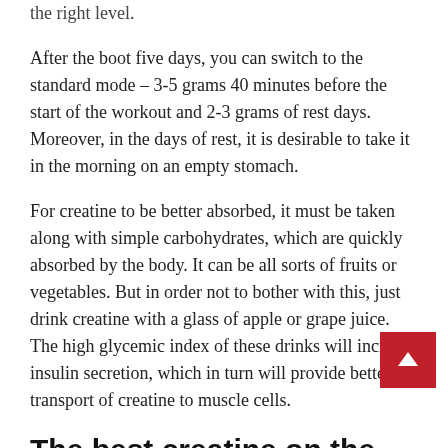the right level.
After the boot five days, you can switch to the standard mode – 3-5 grams 40 minutes before the start of the workout and 2-3 grams of rest days. Moreover, in the days of rest, it is desirable to take it in the morning on an empty stomach.
For creatine to be better absorbed, it must be taken along with simple carbohydrates, which are quickly absorbed by the body. It can be all sorts of fruits or vegetables. But in order not to bother with this, just drink creatine with a glass of apple or grape juice. The high glycemic index of these drinks will increase insulin secretion, which in turn will provide better transport of creatine to muscle cells.
The best creatine on the